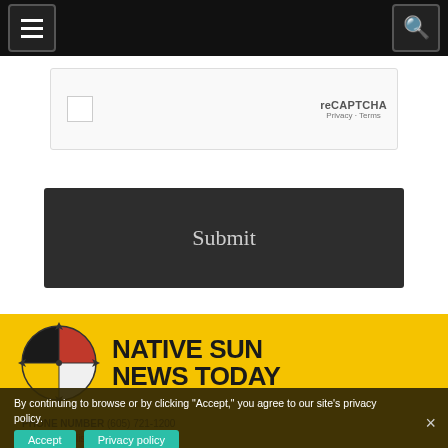Navigation bar with hamburger menu and search icon
[Figure (screenshot): reCAPTCHA widget with checkbox, 'reCAPTCHA' label, Privacy and Terms links]
Submit
[Figure (logo): Native Sun News Today logo with medicine wheel (black, red, white, yellow quadrants) and bold text 'NATIVE SUN NEWS TODAY']
By continuing to browse or by clicking "Accept," you agree to our site's privacy policy.
PHONE NUMBER (605) 721-1200
E-MAIL publisher@...
ADDRESS
325 Omaha Street, Ste#1